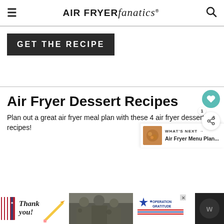AIR FRYER fanatics
GET THE RECIPE
Air Fryer Dessert Recipes
Plan out a great air fryer meal plan with these 4 air fryer dessert recipes!
WHAT'S NEXT → Air Fryer Menu Plan...
[Figure (photo): Advertisement banner at bottom: Thank you military appreciation with Operation Gratitude branding and soldiers image]